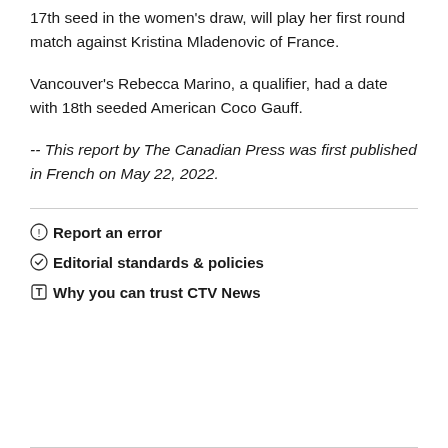17th seed in the women's draw, will play her first round match against Kristina Mladenovic of France.
Vancouver's Rebecca Marino, a qualifier, had a date with 18th seeded American Coco Gauff.
-- This report by The Canadian Press was first published in French on May 22, 2022.
Report an error
Editorial standards & policies
Why you can trust CTV News